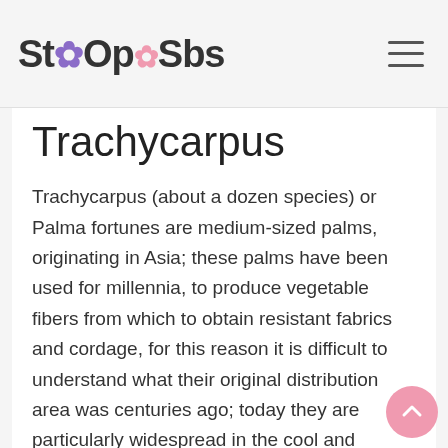StoOpSbs
Trachycarpus
Trachycarpus (about a dozen species) or Palma fortunes are medium-sized palms, originating in Asia; these palms have been used for millennia, to produce vegetable fibers from which to obtain resistant fabrics and cordage, for this reason it is difficult to understand what their original distribution area was centuries ago; today they are particularly widespread in the cool and mountainous areas of Asia. In Europe, the most widespread species is Trachycarpus fortunei, as it is a mountain palm, very